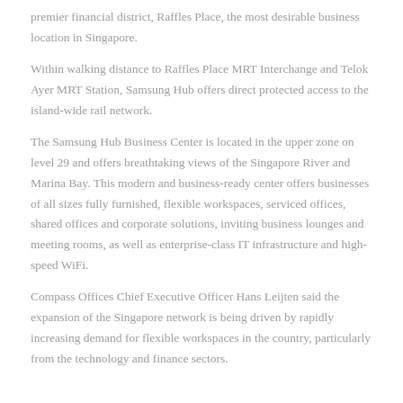premier financial district, Raffles Place, the most desirable business location in Singapore.
Within walking distance to Raffles Place MRT Interchange and Telok Ayer MRT Station, Samsung Hub offers direct protected access to the island-wide rail network.
The Samsung Hub Business Center is located in the upper zone on level 29 and offers breathtaking views of the Singapore River and Marina Bay. This modern and business-ready center offers businesses of all sizes fully furnished, flexible workspaces, serviced offices, shared offices and corporate solutions, inviting business lounges and meeting rooms, as well as enterprise-class IT infrastructure and high-speed WiFi.
Compass Offices Chief Executive Officer Hans Leijten said the expansion of the Singapore network is being driven by rapidly increasing demand for flexible workspaces in the country, particularly from the technology and finance sectors.